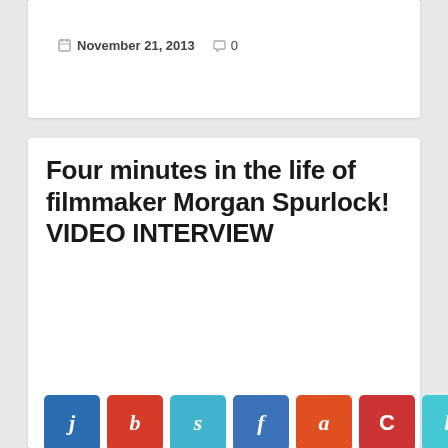November 21, 2013   0
Four minutes in the life of filmmaker Morgan Spurlock! VIDEO INTERVIEW
[Figure (other): Row of social media sharing buttons with letters: j, b, s, f, a, C, k, r on colored square buttons]
Today's Guest: Morgan Spurlock, documentary filmmaker, Comic-Con Episode IV A Fans Hope, Super Size Me   Mr. Media is recorded live before a studio audience of comic book fans who – spoiler alert! Spoiler alert! They already know how this and every